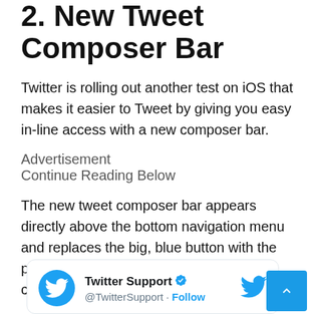2. New Tweet Composer Bar
Twitter is rolling out another test on iOS that makes it easier to Tweet by giving you easy in-line access with a new composer bar.
Advertisement
Continue Reading Below
The new tweet composer bar appears directly above the bottom navigation menu and replaces the big, blue button with the plus-sign that was previously used to compose tweets.
[Figure (screenshot): Twitter Support tweet card with profile picture, verified badge, handle @TwitterSupport, and Follow link]